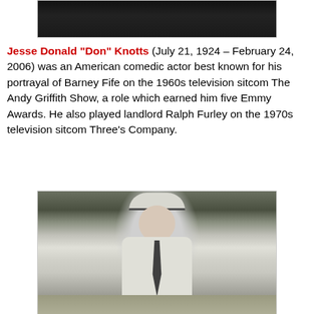[Figure (photo): Black and white photo partially visible at top of page, cropped — appears to be a person's face/shoulder area.]
Jesse Donald "Don" Knotts (July 21, 1924 – February 24, 2006) was an American comedic actor best known for his portrayal of Barney Fife on the 1960s television sitcom The Andy Griffith Show, a role which earned him five Emmy Awards. He also played landlord Ralph Furley on the 1970s television sitcom Three's Company.
[Figure (photo): Black and white photograph of Don Knotts dressed as Barney Fife in a police officer uniform with cap, standing outdoors with trees in the background.]